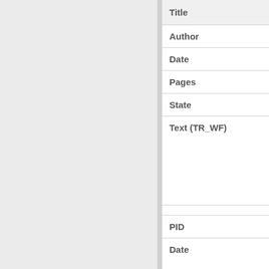| Field |
| --- |
| Title |
| Author |
| Date |
| Pages |
| State |
| Text (TR_WF) |
|  |
| PID |
| Date |